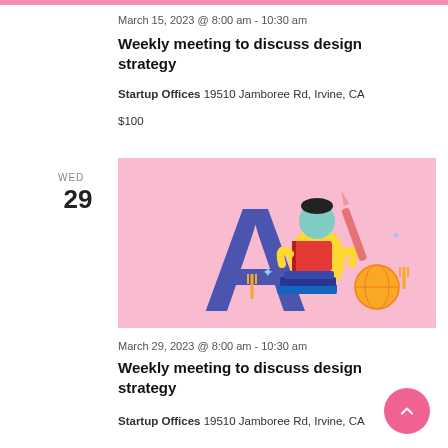March 15, 2023 @ 8:00 am - 10:30 am
Weekly meeting to discuss design strategy
Startup Offices 19510 Jamboree Rd, Irvine, CA
$100
WED
29
[Figure (illustration): Illustration of a person reading a book in front of a large letter A, with books, a globe, and decorative elements on a pink background]
March 29, 2023 @ 8:00 am - 10:30 am
Weekly meeting to discuss design strategy
Startup Offices 19510 Jamboree Rd, Irvine, CA